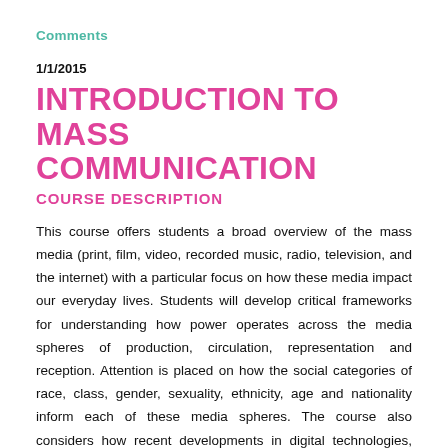Comments
1/1/2015
INTRODUCTION TO MASS COMMUNICATION
COURSE DESCRIPTION
This course offers students a broad overview of the mass media (print, film, video, recorded music, radio, television, and the internet) with a particular focus on how these media impact our everyday lives. Students will develop critical frameworks for understanding how power operates across the media spheres of production, circulation, representation and reception. Attention is placed on how the social categories of race, class, gender, sexuality, ethnicity, age and nationality inform each of these media spheres. The course also considers how recent developments in digital technologies, media convergence and